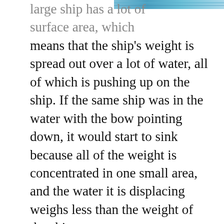[Figure (photo): Partial photo of a ship or water scene, cropped at the top right corner of the page]
large ship has a lot of surface area, which means that the ship's weight is spread out over a lot of water, all of which is pushing up on the ship. If the same ship was in the water with the bow pointing down, it would start to sink because all of the weight is concentrated in one small area, and the water it is displacing weighs less than the weight of the ship.